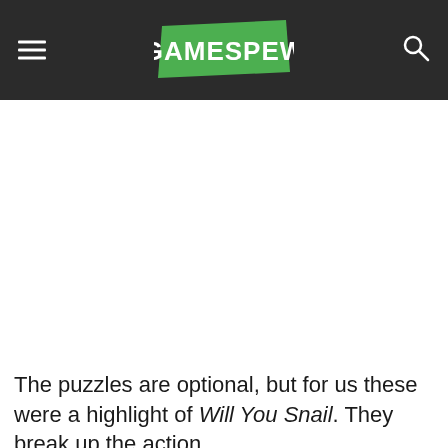GAMESPEW
[Figure (other): Large white/blank advertisement or image placeholder area below the header navigation bar]
The puzzles are optional, but for us these were a highlight of Will You Snail. They break up the action and provide a different type of entertainment. In them, you'll need to string together a series of electricity